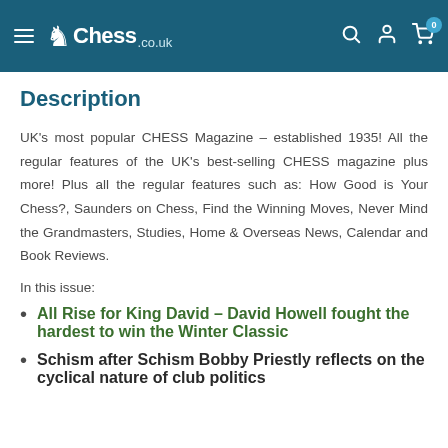Chess.co.uk — navigation header
Description
UK's most popular CHESS Magazine – established 1935! All the regular features of the UK's best-selling CHESS magazine plus more! Plus all the regular features such as: How Good is Your Chess?, Saunders on Chess, Find the Winning Moves, Never Mind the Grandmasters, Studies, Home & Overseas News, Calendar and Book Reviews.
In this issue:
All Rise for King David – David Howell fought the hardest to win the Winter Classic
Schism after Schism Bobby Priestly reflects on the cyclical nature of club politics